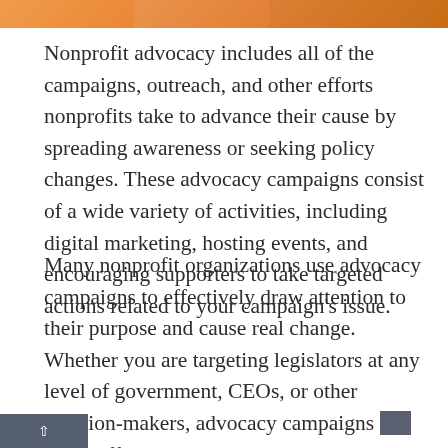[Figure (photo): Banner image strip at top of page showing partial images related to nonprofit advocacy]
Nonprofit advocacy includes all of the campaigns, outreach, and other efforts nonprofits take to advance their cause by spreading awareness or seeking policy changes. These advocacy campaigns consist of a wide variety of activities, including digital marketing, hosting events, and encouraging supporters to take targeted actions related to your campaign’s issue.
Many nonprofit organizations use advocacy campaigns to effectively draw attention to their purpose and cause real change. Whether you are targeting legislators at any level of government, CEOs, or other decision-makers, advocacy campaigns can be an effective engagement activity that helps get your supporters more involved with your cause.